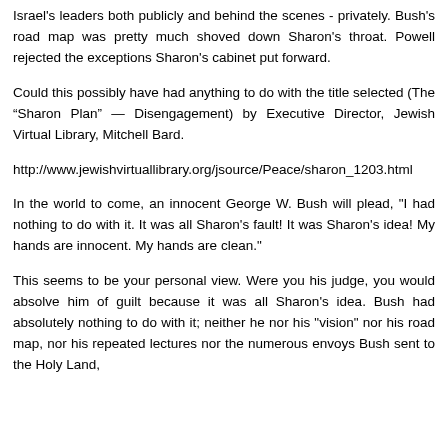Israel's leaders both publicly and behind the scenes - privately. Bush's road map was pretty much shoved down Sharon's throat. Powell rejected the exceptions Sharon's cabinet put forward.
Could this possibly have had anything to do with the title selected (The “Sharon Plan” — Disengagement) by Executive Director, Jewish Virtual Library, Mitchell Bard.
http://www.jewishvirtuallibrary.org/jsource/Peace/sharon_1203.html
In the world to come, an innocent George W. Bush will plead, "I had nothing to do with it. It was all Sharon's fault! It was Sharon's idea! My hands are innocent. My hands are clean."
This seems to be your personal view. Were you his judge, you would absolve him of guilt because it was all Sharon's idea. Bush had absolutely nothing to do with it; neither he nor his "vision" nor his road map, nor his repeated lectures nor the numerous envoys Bush sent to the Holy Land,